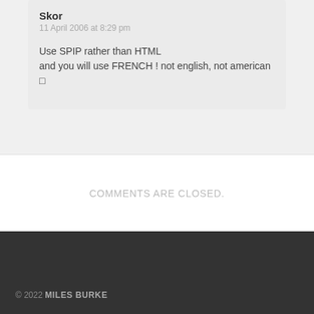Skor
11 April 2006 at 8:29 pm
Use SPIP rather than HTML
and you will use FRENCH ! not english, not american
□
COMMENTS ARE CLOSED.
© 2022 MILES BURKE